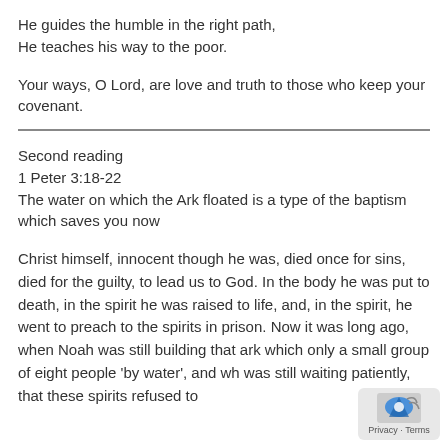He guides the humble in the right path,
He teaches his way to the poor.
Your ways, O Lord, are love and truth to those who keep your covenant.
Second reading
1 Peter 3:18-22
The water on which the Ark floated is a type of the baptism which saves you now
Christ himself, innocent though he was, died once for sins, died for the guilty, to lead us to God. In the body he was put to death, in the spirit he was raised to life, and, in the spirit, he went to preach to the spirits in prison. Now it was long ago, when Noah was still building that ark which only a small group of eight people ‘by water’, and wh was still waiting patiently, that these spirits refused to